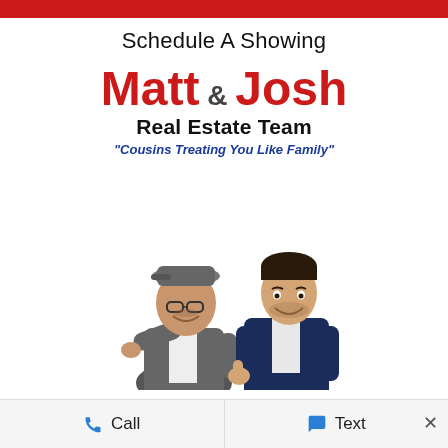Schedule A Showing
[Figure (logo): Matt & Josh Real Estate Team logo with tagline 'Cousins Treating You Like Family']
[Figure (photo): Two men in business casual attire: one in grey blazer with cap pointing forward, one in navy blazer giving thumbs up]
Call   Text   ×